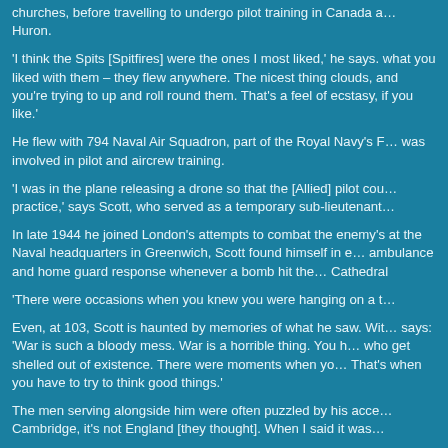churches, before travelling to undergo pilot training in Canada a… Huron.
'I think the Spits [Spitfires] were the ones I most liked,' he says. what you liked with them – they flew anywhere. The nicest thing clouds, and you're trying to up and roll round them. That's a feel of ecstasy, if you like.'
He flew with 794 Naval Air Squadron, part of the Royal Navy's F… was involved in pilot and aircrew training.
'I was in the plane releasing a drone so that the [Allied] pilot cou… practice,' says Scott, who served as a temporary sub-lieutenant…
In late 1944 he joined London's attempts to combat the enemy's at the Naval headquarters in Greenwich, Scott found himself in e… ambulance and home guard response whenever a bomb hit the… Cathedral
'There were occasions when you knew you were hanging on a t…
Even, at 103, Scott is haunted by memories of what he saw. Wit… says: 'War is such a bloody mess. War is a horrible thing. You h… who get shelled out of existence. There were moments when yo… That's when you have to try to think good things.'
The men serving alongside him were often puzzled by his acce… Cambridge, it's not England [they thought]. When I said it was…